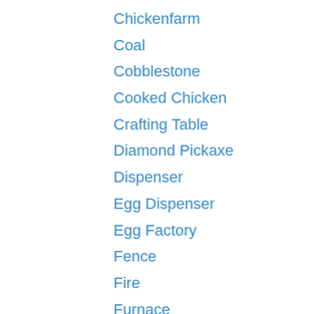Chickenfarm
Coal
Cobblestone
Cooked Chicken
Crafting Table
Diamond Pickaxe
Dispenser
Egg Dispenser
Egg Factory
Fence
Fire
Furnace
Gold Ingot
Golden Pickaxe
House